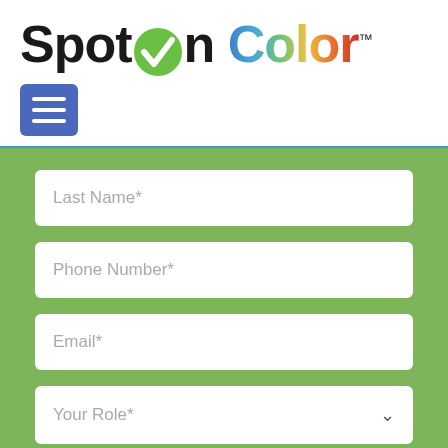[Figure (logo): SpotOn Color logo with checkmark in green circle replacing the 'O' in 'On', and multicolor 'Color' text, with TM mark]
[Figure (other): Blue hamburger menu button with three white horizontal lines]
Last Name*
Phone Number*
Email*
Your Role*
Country*